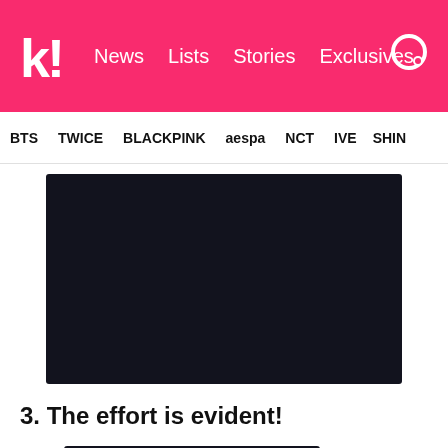koreaboo — News  Lists  Stories  Exclusives
BTS  TWICE  BLACKPINK  aespa  NCT  IVE  SHINe
[Figure (screenshot): Embedded dark video player or media block with black/dark navy background]
3. The effort is evident!
[Figure (screenshot): Partial view of a quote block with large quotation marks and a dark image/screenshot]